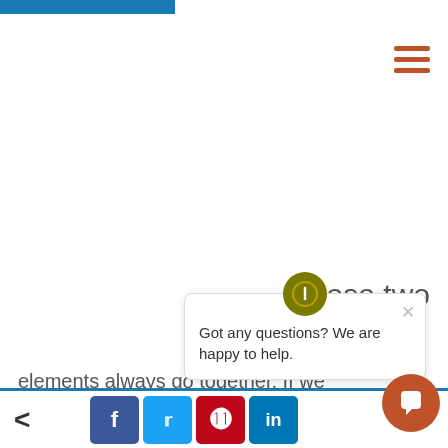These two
elements always go together. If we don't engage students, we have little hope for our schools, our teams or know how to pass on values to live by — we can't expect these kids to do anything but wander
[Figure (screenshot): Chat popup overlay with icon, close button, and text: Got any questions? We are happy to help.]
< [social share buttons: Facebook, Twitter, Pinterest, LinkedIn] >